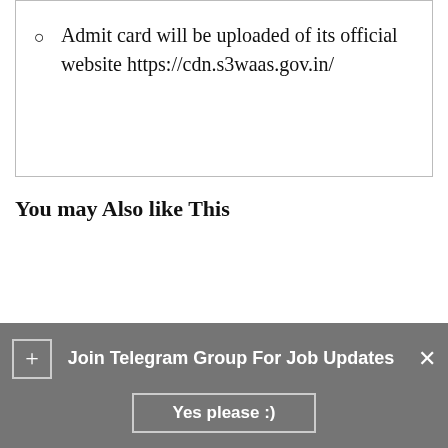Admit card will be uploaded of its official website https://cdn.s3waas.gov.in/
You may Also like This
Join Telegram Group For Job Updates
Yes please :)